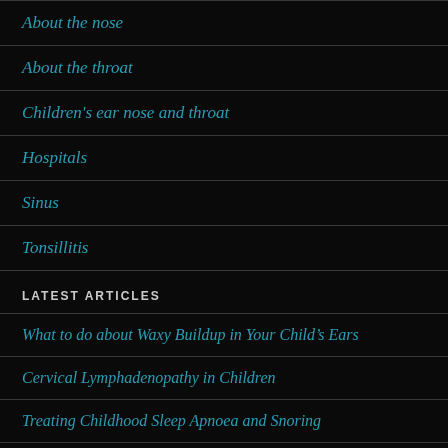About the nose
About the throat
Children's ear nose and throat
Hospitals
Sinus
Tonsillitis
LATEST ARTICLES
What to do about Waxy Buildup in Your Child's Ears
Cervical Lymphadenopathy in Children
Treating Childhood Sleep Apnoea and Snoring